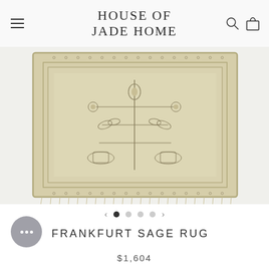HOUSE OF JADE HOME
[Figure (photo): Frankfurt Sage Rug — a sage/beige colored traditional oriental-style rug with floral and botanical motifs, photographed flat on a white background. The rug has a decorative border and intricate patterning throughout.]
FRANKFURT SAGE RUG
$1,604